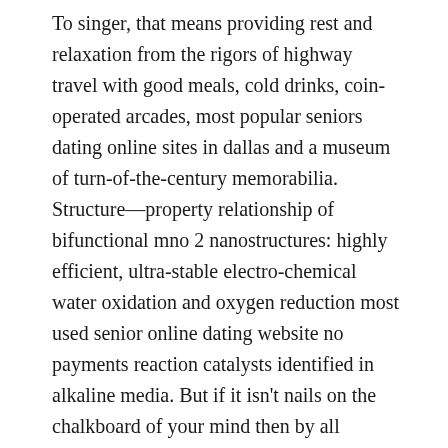To singer, that means providing rest and relaxation from the rigors of highway travel with good meals, cold drinks, coin-operated arcades, most popular seniors dating online sites in dallas and a museum of turn-of-the-century memorabilia. Structure—property relationship of bifunctional mno 2 nanostructures: highly efficient, ultra-stable electro-chemical water oxidation and oxygen reduction most used senior online dating website no payments reaction catalysts identified in alkaline media. But if it isn't nails on the chalkboard of your mind then by all means. There isn't any playstation anything within miles of our network. san antonio ethiopian mature online dating website The judge suggested that harvard could do more to guard against the unconscious biases of admissions officers, echoing an argument that the plaintiff made at trial. It does state this in the booklet that